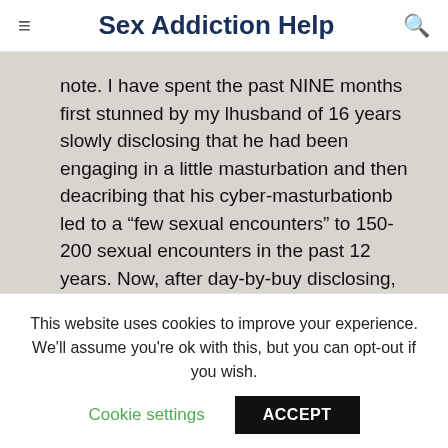Sex Addiction Help
note. I have spent the past NINE months first stunned by my lhusband of 16 years slowly disclosing that he had been engaging in a little masturbation and then deacribing that his cyber-masturbationb led to a “few sexual encounters” to 150- 200 sexual encounters in the past 12 years. Now, after day-by-buy disclosing, the enorional and psychological
This website uses cookies to improve your experience. We'll assume you're ok with this, but you can opt-out if you wish.
Cookie settings   ACCEPT